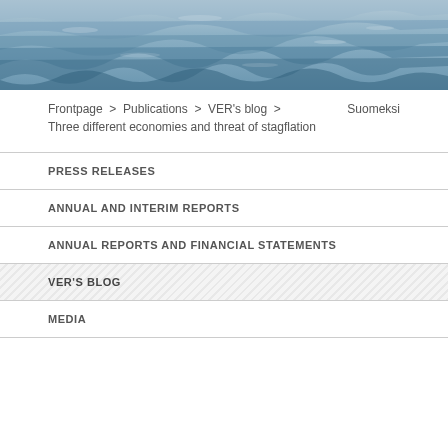[Figure (photo): Ocean water surface with dark blue waves, aerial or close-up view]
Frontpage > Publications > VER's blog > Three different economies and threat of stagflation    Suomeksi
PRESS RELEASES
ANNUAL AND INTERIM REPORTS
ANNUAL REPORTS AND FINANCIAL STATEMENTS
VER'S BLOG
MEDIA